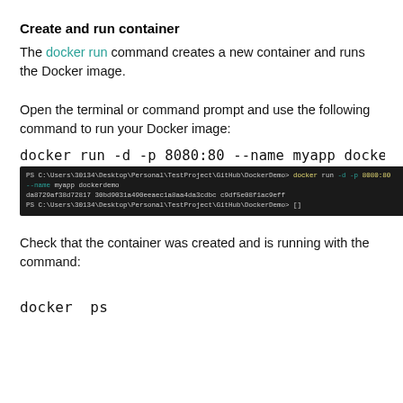Create and run container
The docker run command creates a new container and runs the Docker image.
Open the terminal or command prompt and use the following command to run your Docker image:
docker run -d -p 8080:80 --name myapp docker
[Figure (screenshot): Terminal window showing docker run command output with a container hash and prompt]
Check that the container was created and is running with the command:
docker  ps